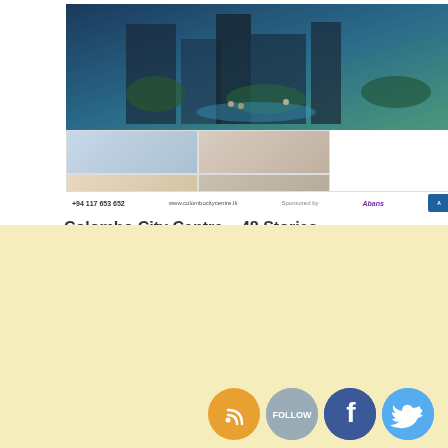[Figure (photo): Advertisement image for Colombo City Centre showing aerial view and interior shots of a mixed-use development building, with phone number +94 117 653 652 and Abans branding]
Colombo City Centre – 48 Stories Building with Over a million Sq. Ft
[Figure (infographic): Social media icons: RSS feed (orange), Follow (grey), Facebook (blue), Twitter (light blue)]